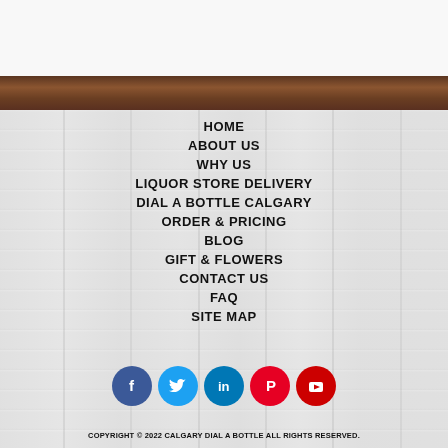HOME
ABOUT US
WHY US
LIQUOR STORE DELIVERY
DIAL A BOTTLE CALGARY
ORDER & PRICING
BLOG
GIFT & FLOWERS
CONTACT US
FAQ
SITE MAP
[Figure (illustration): Social media icons row: Facebook (blue circle), Twitter (light blue circle), LinkedIn (blue circle), Pinterest (red circle), YouTube (red circle)]
COPYRIGHT © 2022 CALGARY DIAL A BOTTLE ALL RIGHTS RESERVED.